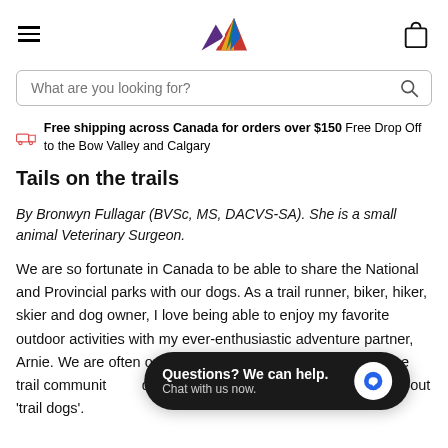[hamburger menu] [mountain logo] [shopping bag]
What are you looking for?
Free shipping across Canada for orders over $150 Free Drop Off to the Bow Valley and Calgary
Tails on the trails
By Bronwyn Fullagar (BVSc, MS, DACVS-SA). She is a small animal Veterinary Surgeon.
We are so fortunate in Canada to be able to share the National and Provincial parks with our dogs. As a trail runner, biker, hiker, skier and dog owner, I love being able to enjoy my favorite outdoor activities with my ever-enthusiastic adventure partner, Arnie. We are often on the trails w[...] nted to share with the trail communit[...] questions I get asked as a veterinarian about 'trail dogs'.
Questions? We can help. Chat with us now.